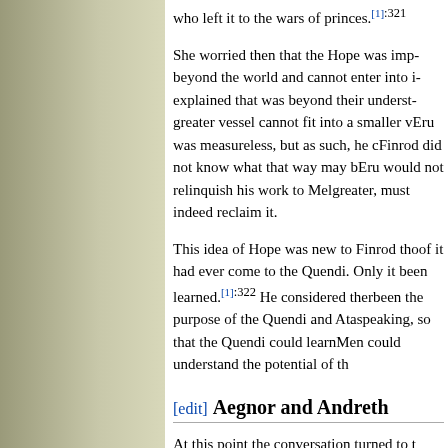who left it to the wars of princes.[1]:321
She worried then that the Hope was imp... beyond the world and cannot enter into i... explained that was beyond their underst... greater vessel cannot fit into a smaller v... Eru was measureless, but as such, he c... Finrod did not know what that way may b... Eru would not relinquish his work to Mel... greater, must indeed reclaim it.
This idea of Hope was new to Finrod tho... of it had ever come to the Quendi. Only ... it been learned.[1]:322 He considered ther... been the purpose of the Quendi and Ata... speaking, so that the Quendi could learn... Men could understand the potential of th...
[edit] Aegnor and Andreth
At this point the conversation turned to t...